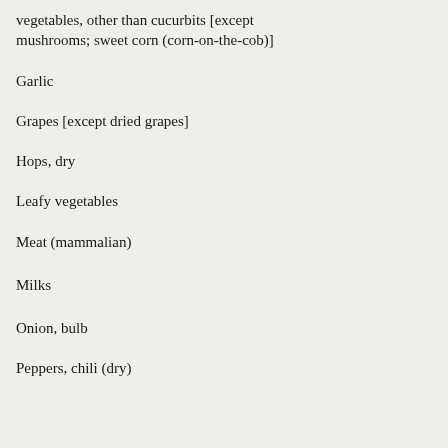| Commodity | MRL |
| --- | --- |
| vegetables, other than cucurbits [except mushrooms; sweet corn (corn-on-the-cob)] |  |
| Garlic | 1.5 |
| Grapes [except dried grapes] | 6 |
| Hops, dry | 30 |
| Leafy vegetables | 50 |
| Meat (mammalian) | *0.02 |
| Milks | *0.02 |
| Onion, bulb | 1.5 |
| Peppers, chili (dry) | 15 |